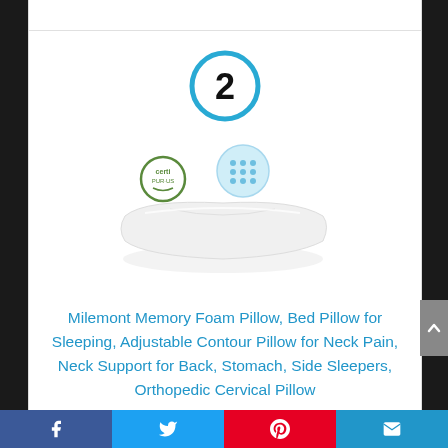[Figure (illustration): Number 2 inside a cyan/blue circle, used as a ranking indicator]
[Figure (photo): Milemont Memory Foam contour pillow product image with certification badges (CertiPUR and ventilation/cooling icon) floating above the pillow]
Milemont Memory Foam Pillow, Bed Pillow for Sleeping, Adjustable Contour Pillow for Neck Pain, Neck Support for Back, Stomach, Side Sleepers, Orthopedic Cervical Pillow
Social share bar: Facebook, Twitter, Pinterest, Email